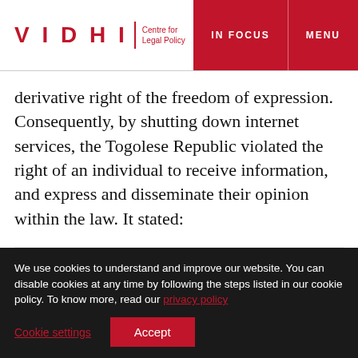VIDHI | Centre for Legal Policy — IN FOCUS   MENU
derivative right of the freedom of expression. Consequently, by shutting down internet services, the Togolese Republic violated the right of an individual to receive information, and express and disseminate their opinion within the law. It stated:
“Right to internet access is closely linked to the right
We use cookies to understand and improve our website. You can disable cookies at any time by following the steps listed in our cookie policy. To know more, read our privacy policy
Cookie settings   Accept